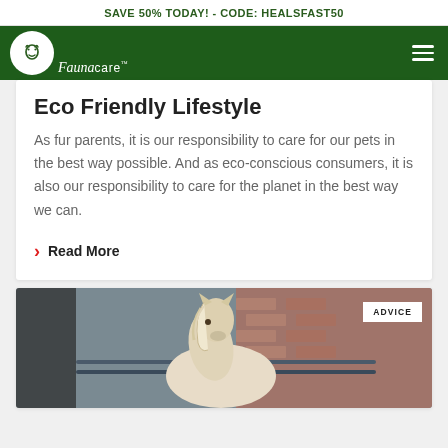SAVE 50% TODAY! - CODE: HEALSFAST50
[Figure (logo): Faunacare logo with dog icon in white circle on green navigation bar with hamburger menu]
Eco Friendly Lifestyle
As fur parents, it is our responsibility to care for our pets in the best way possible. And as eco-conscious consumers, it is also our responsibility to care for the planet in the best way we can.
Read More
[Figure (photo): A light-colored horse (appears to be a foal or young horse) photographed from behind/side, with a brick building in the background. An ADVICE badge overlays the top right corner.]